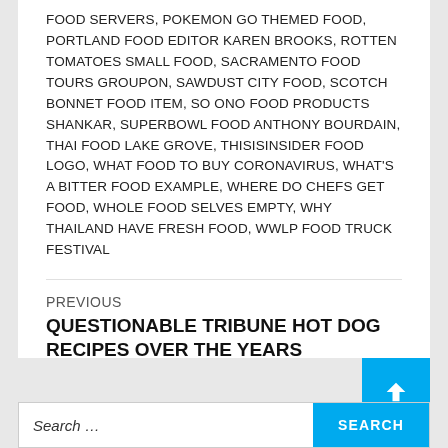FOOD SERVERS, POKEMON GO THEMED FOOD, PORTLAND FOOD EDITOR KAREN BROOKS, ROTTEN TOMATOES SMALL FOOD, SACRAMENTO FOOD TOURS GROUPON, SAWDUST CITY FOOD, SCOTCH BONNET FOOD ITEM, SO ONO FOOD PRODUCTS SHANKAR, SUPERBOWL FOOD ANTHONY BOURDAIN, THAI FOOD LAKE GROVE, THISISINSIDER FOOD LOGO, WHAT FOOD TO BUY CORONAVIRUS, WHAT'S A BITTER FOOD EXAMPLE, WHERE DO CHEFS GET FOOD, WHOLE FOOD SELVES EMPTY, WHY THAILAND HAVE FRESH FOOD, WWLP FOOD TRUCK FESTIVAL
PREVIOUS
QUESTIONABLE TRIBUNE HOT DOG RECIPES OVER THE YEARS
NEXT
ERIC KIM'S ESSENTIAL KOREAN RECIPES